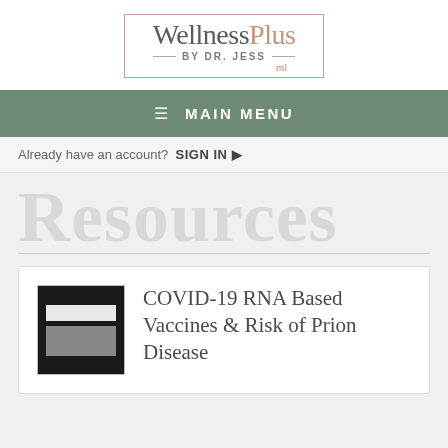[Figure (logo): WellnessPlus by Dr. Jess logo in a salmon/rose bordered box with decorative script signature]
≡ MAIN MENU
Already have an account? SIGN IN ▶
Resources
[Figure (screenshot): Thumbnail image of a document cover, dark background with white and gray content strips]
COVID-19 RNA Based Vaccines & Risk of Prion Disease